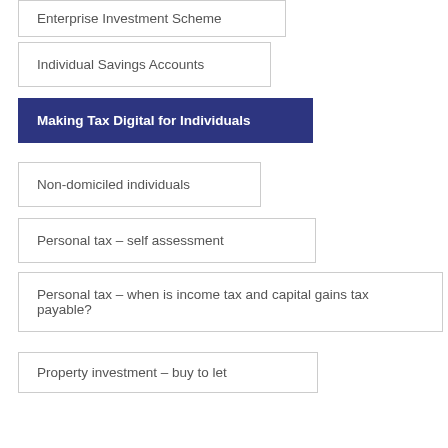Enterprise Investment Scheme
Individual Savings Accounts
Making Tax Digital for Individuals
Non-domiciled individuals
Personal tax – self assessment
Personal tax – when is income tax and capital gains tax payable?
Property investment – buy to let
Property investment – tax aspects
Seed Enterprise Investment Scheme
Statutory Residence Test